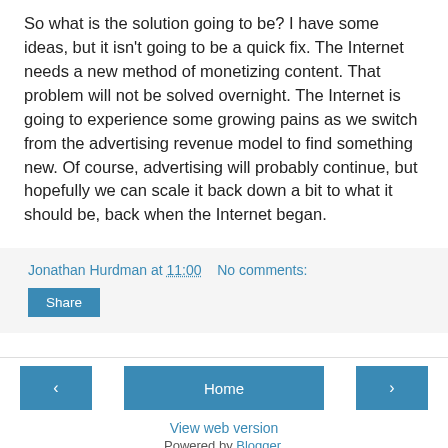So what is the solution going to be? I have some ideas, but it isn't going to be a quick fix. The Internet needs a new method of monetizing content. That problem will not be solved overnight. The Internet is going to experience some growing pains as we switch from the advertising revenue model to find something new. Of course, advertising will probably continue, but hopefully we can scale it back down a bit to what it should be, back when the Internet began.
Jonathan Hurdman at 11:00   No comments:
Share
‹   Home   ›   View web version   Powered by Blogger.